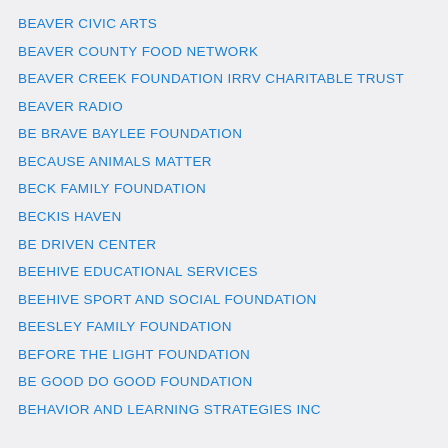BEAVER CIVIC ARTS
BEAVER COUNTY FOOD NETWORK
BEAVER CREEK FOUNDATION IRRV CHARITABLE TRUST
BEAVER RADIO
BE BRAVE BAYLEE FOUNDATION
BECAUSE ANIMALS MATTER
BECK FAMILY FOUNDATION
BECKIS HAVEN
BE DRIVEN CENTER
BEEHIVE EDUCATIONAL SERVICES
BEEHIVE SPORT AND SOCIAL FOUNDATION
BEESLEY FAMILY FOUNDATION
BEFORE THE LIGHT FOUNDATION
BE GOOD DO GOOD FOUNDATION
BEHAVIOR AND LEARNING STRATEGIES INC